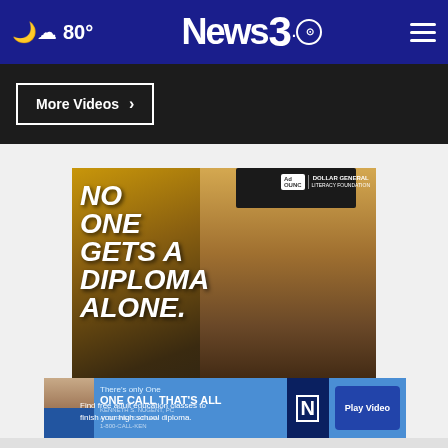80° News 3
More Videos ›
[Figure (photo): Dollar General Literacy Foundation advertisement showing a man in graduation cap with text 'NO ONE GETS A DIPLOMA ALONE.' and button 'Find Free Classes']
[Figure (photo): Kenneth S. Nugent attorney advertisement reading 'There's only One ONE CALL THAT'S ALL 1-800-CALL-KEN' with 'Play Video' button]